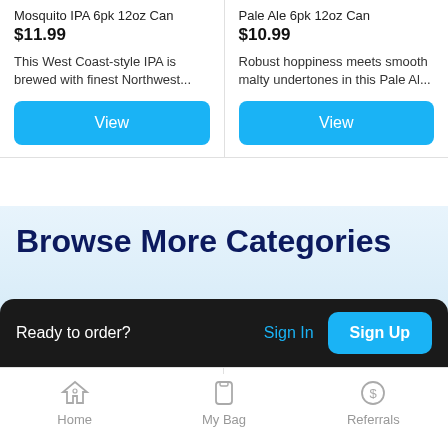Mosquito IPA 6pk 12oz Can
$11.99
This West Coast-style IPA is brewed with finest Northwest...
View
Pale Ale 6pk 12oz Can
$10.99
Robust hoppiness meets smooth malty undertones in this Pale Al...
View
Browse More Categories
Jelly Beans
Can Beer
Ready to order?
Sign In
Sign Up
Home  My Bag  Referrals